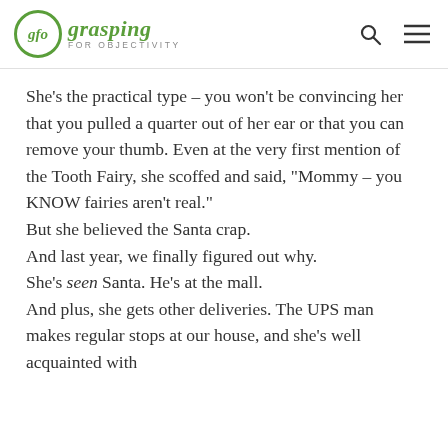glo grasping FOR OBJECTIVITY
She’s the practical type – you won’t be convincing her that you pulled a quarter out of her ear or that you can remove your thumb.  Even at the very first mention of the Tooth Fairy, she scoffed and said, “Mommy – you KNOW fairies aren’t real.”
But she believed the Santa crap.
And last year, we finally figured out why.
She’s seen Santa.  He’s at the mall.
And plus, she gets other deliveries.  The UPS man makes regular stops at our house, and she’s well acquainted with